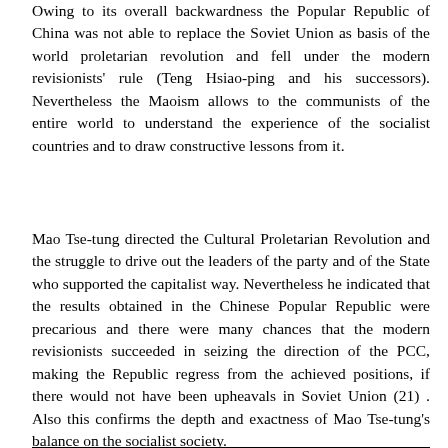Owing to its overall backwardness the Popular Republic of China was not able to replace the Soviet Union as basis of the world proletarian revolution and fell under the modern revisionists' rule (Teng Hsiao-ping and his successors). Nevertheless the Maoism allows to the communists of the entire world to understand the experience of the socialist countries and to draw constructive lessons from it.
Mao Tse-tung directed the Cultural Proletarian Revolution and the struggle to drive out the leaders of the party and of the State who supported the capitalist way. Nevertheless he indicated that the results obtained in the Chinese Popular Republic were precarious and there were many chances that the modern revisionists succeeded in seizing the direction of the PCC, making the Republic regress from the achieved positions, if there would not have been upheavals in Soviet Union (21) . Also this confirms the depth and exactness of Mao Tse-tung's balance on the socialist society.